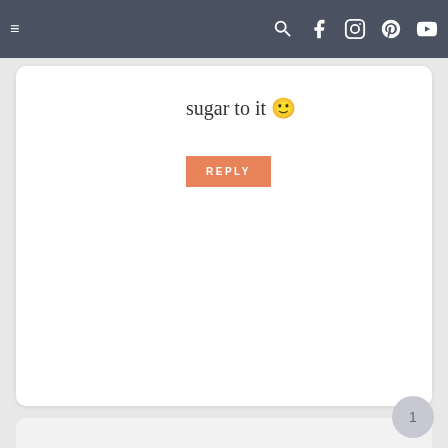Navigation bar with hamburger menu and social icons
sugar to it 🙂
REPLY
LEAVE A REPLY TO ROSIE CANCEL REPLY
Your email address will not be published. Required fields are marked *
Recipe Rating
[Figure (other): Five star rating icons (empty/outline stars)]